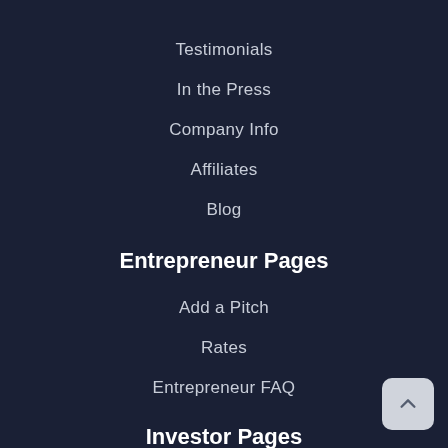Testimonials
In the Press
Company Info
Affiliates
Blog
Entrepreneur Pages
Add a Pitch
Rates
Entrepreneur FAQ
Investor Pages
Register